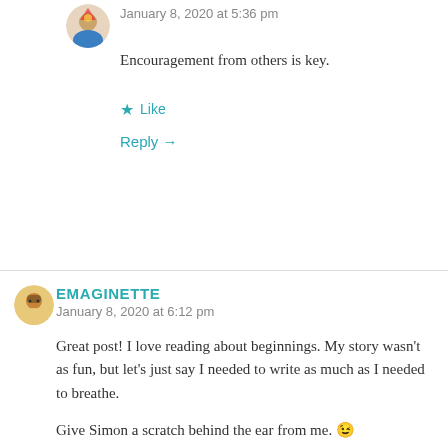January 8, 2020 at 5:36 pm
Encouragement from others is key.
★ Like
Reply →
EMAGINETTE
January 8, 2020 at 6:12 pm
Great post! I love reading about beginnings. My story wasn't as fun, but let's just say I needed to write as much as I needed to breathe.
Give Simon a scratch behind the ear from me. 😉